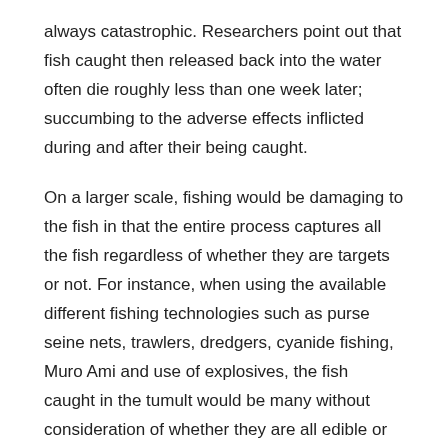always catastrophic. Researchers point out that fish caught then released back into the water often die roughly less than one week later; succumbing to the adverse effects inflicted during and after their being caught.
On a larger scale, fishing would be damaging to the fish in that the entire process captures all the fish regardless of whether they are targets or not. For instance, when using the available different fishing technologies such as purse seine nets, trawlers, dredgers, cyanide fishing, Muro Ami and use of explosives, the fish caught in the tumult would be many without consideration of whether they are all edible or not. Some caught will be discarded whether dead or alive. Others, on the other hand, will be lucky to not be caught but remain affected, injured and stressed in the water.
It is not uncommon to catch fish (especially the larger fish) and notice that they miss some of their body parts or have man-made objects such as darts and small harpoons sticking from their